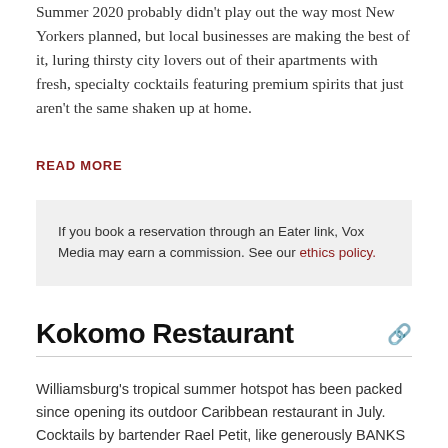Summer 2020 probably didn't play out the way most New Yorkers planned, but local businesses are making the best of it, luring thirsty city lovers out of their apartments with fresh, specialty cocktails featuring premium spirits that just aren't the same shaken up at home.
READ MORE
If you book a reservation through an Eater link, Vox Media may earn a commission. See our ethics policy.
Kokomo Restaurant
Williamsburg's tropical summer hotspot has been packed since opening its outdoor Caribbean restaurant in July. Cocktails by bartender Rael Petit, like generously BANKS rum-spiked frozen punches are pleasant and fruity, pairing just as well with ambient city patio sounds as they would with the sounds of the ocean. Almost.